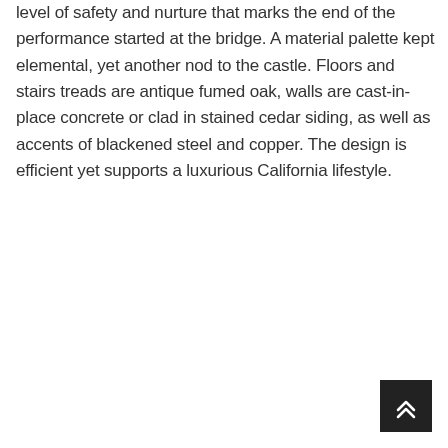level of safety and nurture that marks the end of the performance started at the bridge. A material palette kept elemental, yet another nod to the castle. Floors and stairs treads are antique fumed oak, walls are cast-in-place concrete or clad in stained cedar siding, as well as accents of blackened steel and copper. The design is efficient yet supports a luxurious California lifestyle.
[Figure (other): Back to top button — dark square with upward double chevron arrow icon]